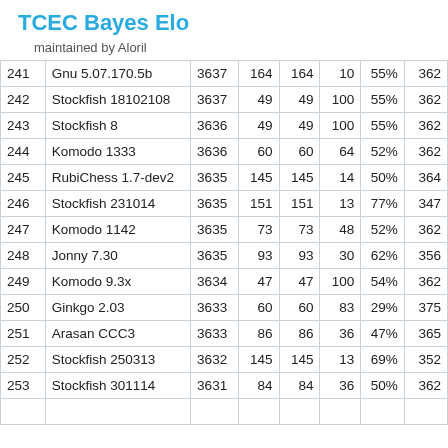TCEC Bayes Elo
maintained by Aloril
| # | Engine | Elo |  |  |  | % |  |
| --- | --- | --- | --- | --- | --- | --- | --- |
| 241 | Gnu 5.07.170.5b | 3637 | 164 | 164 | 10 | 55% | 362 |
| 242 | Stockfish 18102108 | 3637 | 49 | 49 | 100 | 55% | 362 |
| 243 | Stockfish 8 | 3636 | 49 | 49 | 100 | 55% | 362 |
| 244 | Komodo 1333 | 3636 | 60 | 60 | 64 | 52% | 362 |
| 245 | RubiChess 1.7-dev2 | 3635 | 145 | 145 | 14 | 50% | 364 |
| 246 | Stockfish 231014 | 3635 | 151 | 151 | 13 | 77% | 347 |
| 247 | Komodo 1142 | 3635 | 73 | 73 | 48 | 52% | 362 |
| 248 | Jonny 7.30 | 3635 | 93 | 93 | 30 | 62% | 356 |
| 249 | Komodo 9.3x | 3634 | 47 | 47 | 100 | 54% | 362 |
| 250 | Ginkgo 2.03 | 3633 | 60 | 60 | 83 | 29% | 375 |
| 251 | Arasan CCC3 | 3633 | 86 | 86 | 36 | 47% | 365 |
| 252 | Stockfish 250313 | 3632 | 145 | 145 | 13 | 69% | 352 |
| 253 | Stockfish 301114 | 3631 | 84 | 84 | 36 | 50% | 362 |